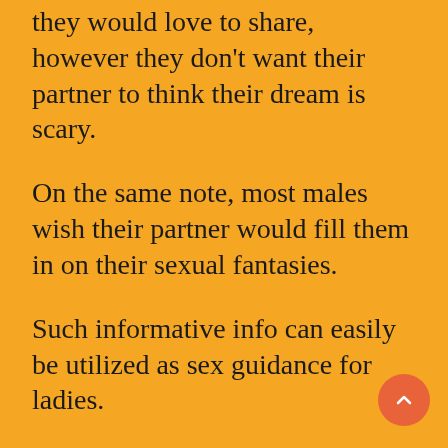they would love to share, however they don't want their partner to think their dream is scary.
On the same note, most males wish their partner would fill them in on their sexual fantasies.
Such informative info can easily be utilized as sex guidance for ladies.
If you're a little shy about sharing your dream aloud, make a game out of jotting down various fantasies on paper with an agreement that this will be a judgment-free experience.